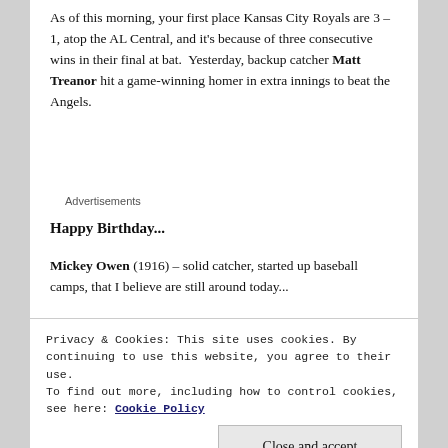As of this morning, your first place Kansas City Royals are 3 – 1, atop the AL Central, and it's because of three consecutive wins in their final at bat.  Yesterday, backup catcher Matt Treanor hit a game-winning homer in extra innings to beat the Angels.
Advertisements
Happy Birthday...
Mickey Owen (1916) – solid catcher, started up baseball camps, that I believe are still around today...
Privacy & Cookies: This site uses cookies. By continuing to use this website, you agree to their use.
To find out more, including how to control cookies, see here: Cookie Policy
Tommy Herr (1956)